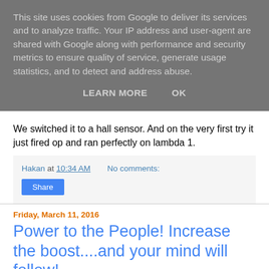This site uses cookies from Google to deliver its services and to analyze traffic. Your IP address and user-agent are shared with Google along with performance and security metrics to ensure quality of service, generate usage statistics, and to detect and address abuse.
LEARN MORE   OK
We switched it to a hall sensor. And on the very first try it just fired op and ran perfectly on lambda 1.
Hakan at 10:34 AM   No comments:
Share
Friday, March 11, 2016
Power to the People! Increase the boost....and your mind will follow!
Magnuson!